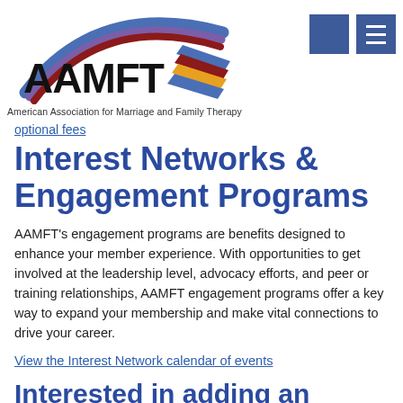[Figure (logo): AAMFT logo with rainbow arc and colored stripes, American Association for Marriage and Family Therapy]
optional fees
Interest Networks & Engagement Programs
AAMFT’s engagement programs are benefits designed to enhance your member experience. With opportunities to get involved at the leadership level, advocacy efforts, and peer or training relationships, AAMFT engagement programs offer a key way to expand your membership and make vital connections to drive your career.
View the Interest Network calendar of events
Interested in adding an engagement